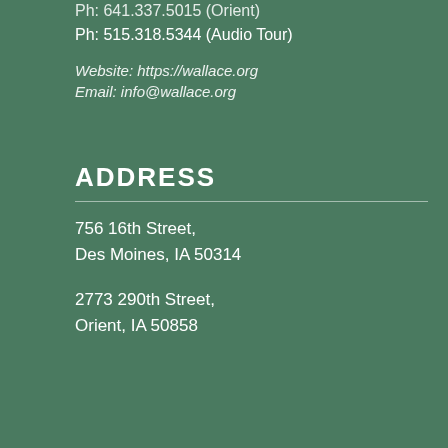Ph: 641.337.5015 (Orient)
Ph: 515.318.5344 (Audio Tour)
Website: https://wallace.org
Email: info@wallace.org
ADDRESS
756 16th Street,
Des Moines, IA 50314
2773 290th Street,
Orient, IA 50858